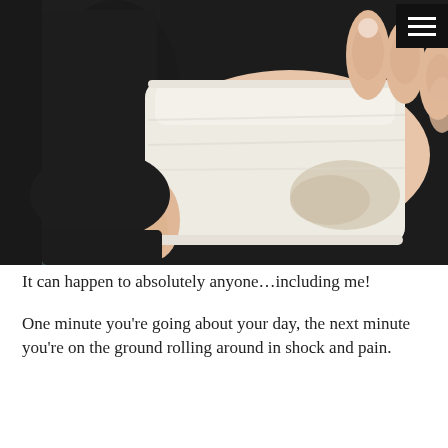[Figure (photo): A hand with a white bandage/dressing wrapped around the palm and wrist area, resting on a dark black fabric surface. Four fingers are visible above the bandage. The background is dark charcoal/black.]
It can happen to absolutely anyone…including me!
One minute you're going about your day, the next minute you're on the ground rolling around in shock and pain.